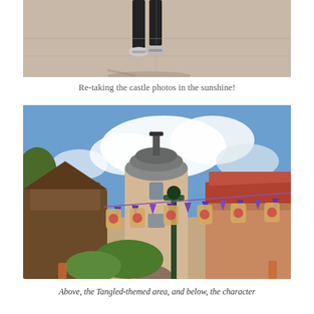[Figure (photo): Partial photo showing bottom portion of a person standing on a paved surface in sunshine, only legs and sneakers visible, cropped at top of image.]
Re-taking the castle photos in the sunshine!
[Figure (photo): Photo of the Tangled-themed area at a Disney theme park, showing a stone tower building with purple and gold bunting flags, hanging lanterns, lamppost, and surrounding structures under a partly cloudy blue sky.]
Above, the Tangled-themed area, and below, the character